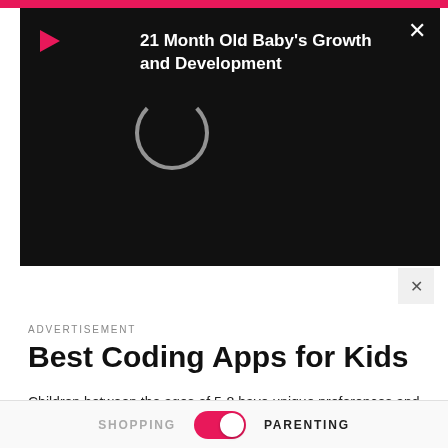[Figure (screenshot): Black video player overlay with red play button icon, loading spinner circle, and bold white text reading '21 Month Old Baby's Growth and Development'. White X close button in top-right corner.]
ADVERTISEMENT
Best Coding Apps for Kids
Children between the ages of 5-8 have unique preferences and become selective of the resources they learn from. Taking that into consideration, we've rounded up a list of the top coding apps for them.
1. GameStar Mechanic
SHOPPING  PARENTING